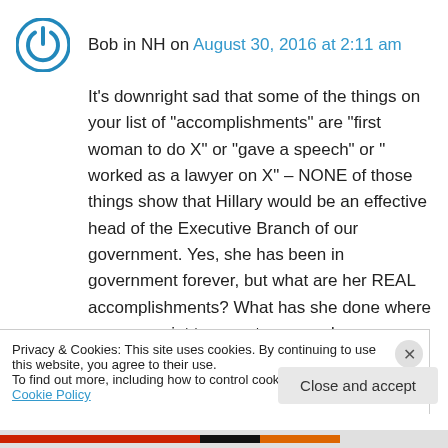Bob in NH on August 30, 2016 at 2:11 am
It’s downright sad that some of the things on your list of “accomplishments” are “first woman to do X” or “gave a speech” or “ worked as a lawyer on X” – NONE of those things show that Hillary would be an effective head of the Executive Branch of our government. Yes, she has been in government forever, but what are her REAL accomplishments? What has she done where you can point to an outcome and
Privacy & Cookies: This site uses cookies. By continuing to use this website, you agree to their use.
To find out more, including how to control cookies, see here: Cookie Policy
Close and accept